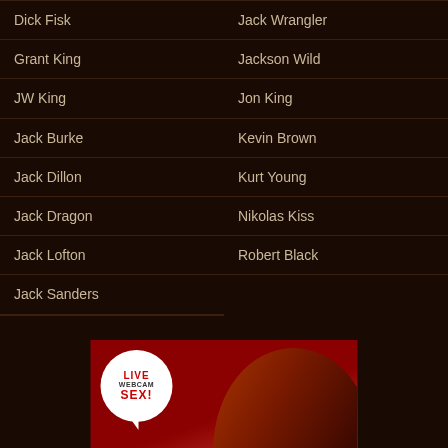Dick Fisk
Jack Wrangler
Grant King
Jackson Wild
JW King
Jon King
Jack Burke
Kevin Brown
Jack Dillon
Kurt Young
Jack Dragon
Nikolas Kiss
Jack Lofton
Robert Black
Jack Sanders
[Figure (advertisement): Live Webcam Sex advertisement banner with speech bubble logo and blonde woman]